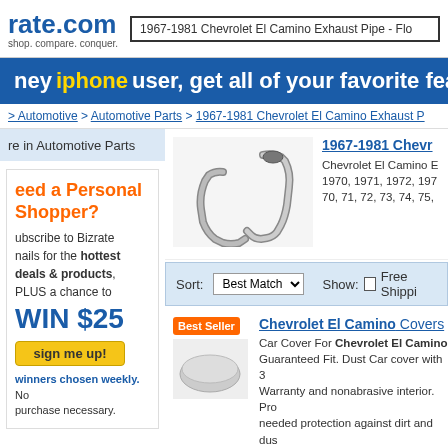rate.com — shop. compare. conquer. | 1967-1981 Chevrolet El Camino Exhaust Pipe - Flo
[Figure (screenshot): iPhone app promotional banner: 'hey iphone user, get all of your favorite feat']
> Automotive > Automotive Parts > 1967-1981 Chevrolet El Camino Exhaust P
re in Automotive Parts
[Figure (photo): Product image: 1967-1981 Chevrolet El Camino exhaust pipes, two chrome/steel bent pipes]
1967-1981 Chevr
Chevrolet El Camino E
1970, 1971, 1972, 197
70, 71, 72, 73, 74, 75,
re in Automotive Parts
eed a Personal Shopper?
ubscribe to Bizrate
nails for the hottest deals & products,
PLUS a chance to
WIN $25
sign me up!
winners chosen weekly. No purchase necessary.
Sort: Best Match | Show: Free Shipping
Chevrolet El Camino Covers
Car Cover For Chevrolet El Camino
Guaranteed Fit. Dust Car cover with 3
Warranty and nonabrasive interior. Pro
needed protection against dirt and dus